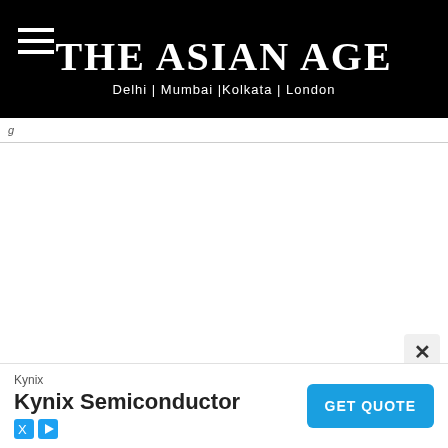THE ASIAN AGE — Delhi | Mumbai | Kolkata | London
g… (partial navigation text, truncated)
[Figure (other): Advertisement banner for Kynix Semiconductor with GET QUOTE button]
Kynix
Kynix Semiconductor
GET QUOTE